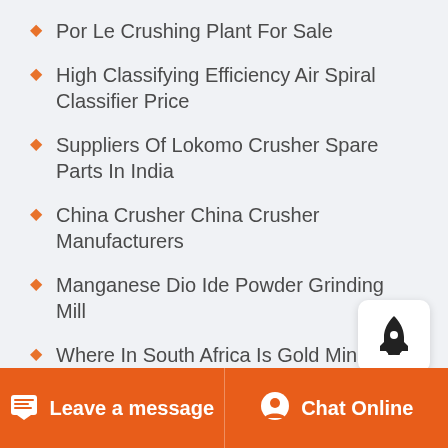Por Le Crushing Plant For Sale
High Classifying Efficiency Air Spiral Classifier Price
Suppliers Of Lokomo Crusher Spare Parts In India
China Crusher China Crusher Manufacturers
Manganese Dio Ide Powder Grinding Mill
Where In South Africa Is Gold Mined
Screening Plate For Stone Crusher
Construction Aggregate Crushing Plant
Leave a message   Chat Online